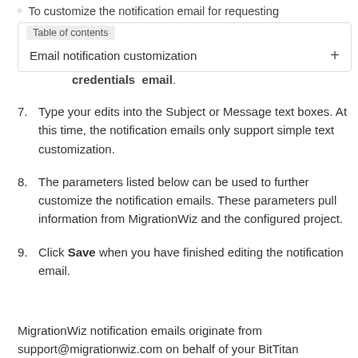To customize the notification email for requesting
credentials email.
Table of contents
Email notification customization +
7. Type your edits into the Subject or Message text boxes. At this time, the notification emails only support simple text customization.
8. The parameters listed below can be used to further customize the notification emails. These parameters pull information from MigrationWiz and the configured project.
9. Click Save when you have finished editing the notification email.
MigrationWiz notification emails originate from support@migrationwiz.com on behalf of your BitTitan